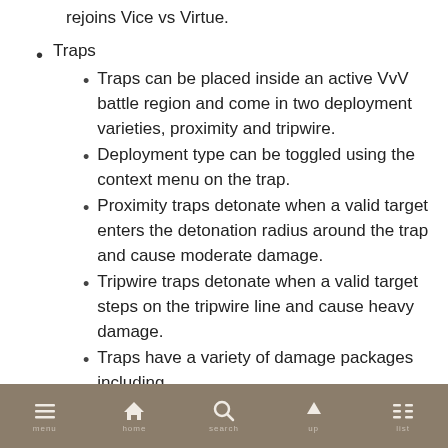rejoins Vice vs Virtue.
Traps
Traps can be placed inside an active VvV battle region and come in two deployment varieties, proximity and tripwire.
Deployment type can be toggled using the context menu on the trap.
Proximity traps detonate when a valid target enters the detonation radius around the trap and cause moderate damage.
Tripwire traps detonate when a valid target steps on the tripwire line and cause heavy damage.
Traps have a variety of damage packages including
menu home search up list